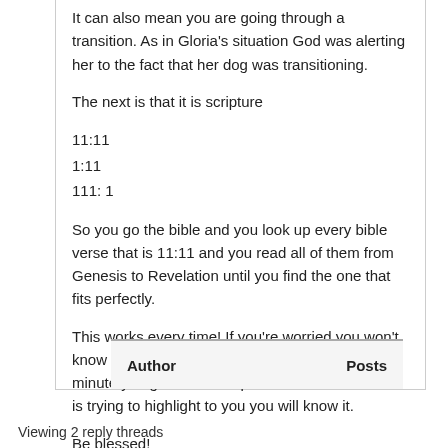It can also mean you are going through a transition. As in Gloria's situation God was alerting her to the fact that her dog was transitioning.
The next is that it is scripture
11:11
1:11
111: 1
So you go the bible and you look up every bible verse that is 11:11 and you read all of them from Genesis to Revelation until you find the one that fits perfectly.
This works every time! If you're worried you won't know which one it is, believe me you will. The minute you get to the chapter and verse that God is trying to highlight to you you will know it.
Be blessed!
| Author | Posts |
| --- | --- |
Viewing 2 reply threads